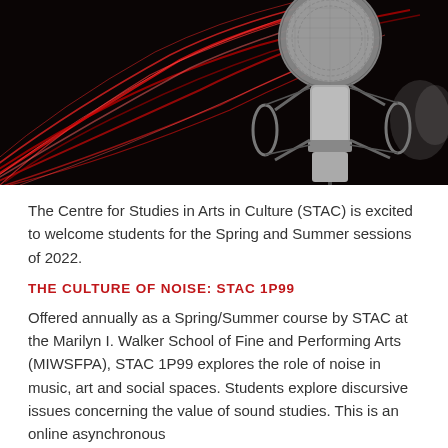[Figure (photo): A professional studio condenser microphone on a shock mount against a dark background with dramatic red light trails/streaks radiating outward.]
The Centre for Studies in Arts in Culture (STAC) is excited to welcome students for the Spring and Summer sessions of 2022.
THE CULTURE OF NOISE: STAC 1P99
Offered annually as a Spring/Summer course by STAC at the Marilyn I. Walker School of Fine and Performing Arts (MIWSFPA), STAC 1P99 explores the role of noise in music, art and social spaces. Students explore discursive issues concerning the value of sound studies. This is an online asynchronous